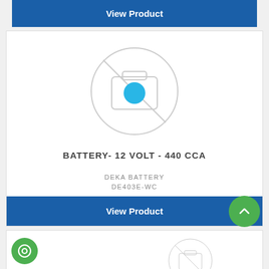[Figure (other): Blue 'View Product' button at top of page]
[Figure (photo): No-image placeholder icon: circle with camera icon and diagonal slash, with cyan/blue dot in center]
BATTERY- 12 VOLT - 440 CCA
DEKA BATTERY
DE403E-WC
[Figure (other): Blue 'View Product' button with green scroll-to-top circular arrow button overlapping the right side]
[Figure (other): Third product card beginning, showing green chat bubble button on left and partial no-image placeholder icon on right]